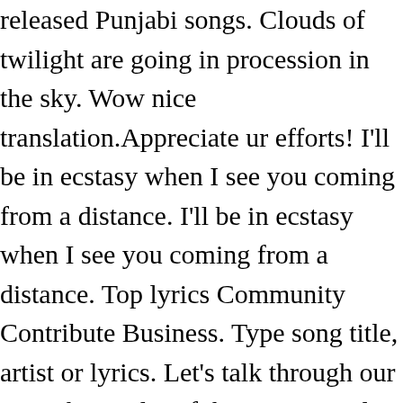released Punjabi songs. Clouds of twilight are going in procession in the sky. Wow nice translation.Appreciate ur efforts! I'll be in ecstasy when I see you coming from a distance. I'll be in ecstasy when I see you coming from a distance. Top lyrics Community Contribute Business. Type song title, artist or lyrics. Let's talk through our eyes about a lot of things. can u plz translate dis song to English...! I like your nobility of not being a loose-foot. Kaakha Kaakha Songs Lyrics in English and Tamil. Lyrics of Sonnalum ketpathillai